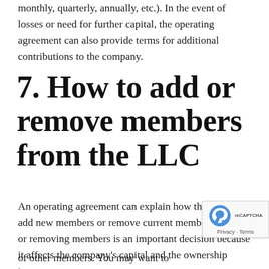monthly, quarterly, annually, etc.). In the event of losses or need for further capital, the operating agreement can also provide terms for additional contributions to the company.
7. How to add or remove members from the LLC
An operating agreement can explain how the LLC can add new members or remove current members. Adding or removing members is an important decision because it affects the company's capital and the ownership interests of other members. You may want to consider